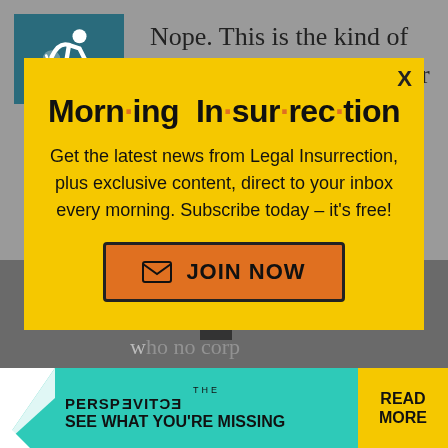Nope. This is the kind of gaffe that sticks around for the whole campaign. You know it, I know it,
[Figure (screenshot): Morning Insurrection newsletter signup modal popup on yellow background with orange JOIN NOW button]
because he is... a gaffe campaigner who no corp beliefs.
[Figure (infographic): The Perspective advertisement banner: SEE WHAT YOU'RE MISSING, READ MORE]